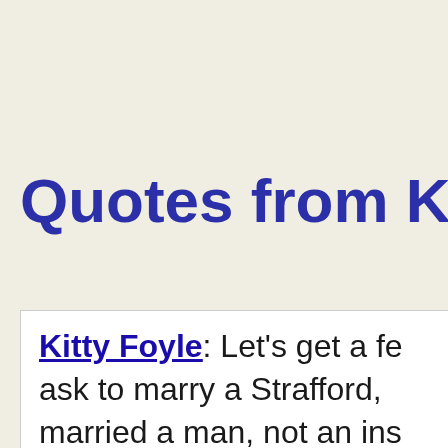[Figure (screenshot): Amazon advertisement banner for All-new Echo Show priced at $229, teal/turquoise background with white text and Amazon logo]
Quotes from Kitt
Kitty Foyle: Let's get a fe... ask to marry a Strafford, ... married a man, not an ins... Oh, I've got a fine picture